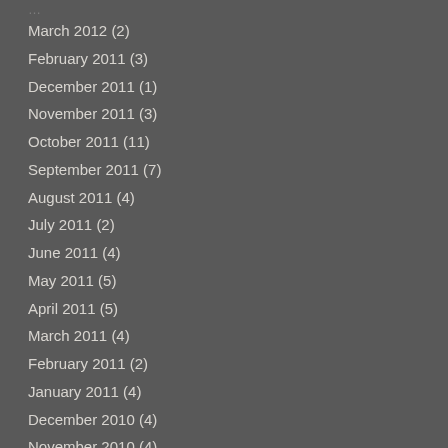March 2012 (2)
February 2011 (3)
December 2011 (1)
November 2011 (3)
October 2011 (11)
September 2011 (7)
August 2011 (4)
July 2011 (2)
June 2011 (4)
May 2011 (5)
April 2011 (5)
March 2011 (4)
February 2011 (2)
January 2011 (4)
December 2010 (4)
November 2010 (4)
October 2010 (1)
September 2010 (1)
August 2010 (2)
June 2010 (1)